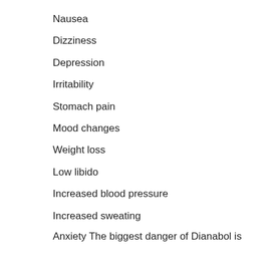Nausea
Dizziness
Depression
Irritability
Stomach pain
Mood changes
Weight loss
Low libido
Increased blood pressure
Increased sweating
Anxiety The biggest danger of Dianabol is